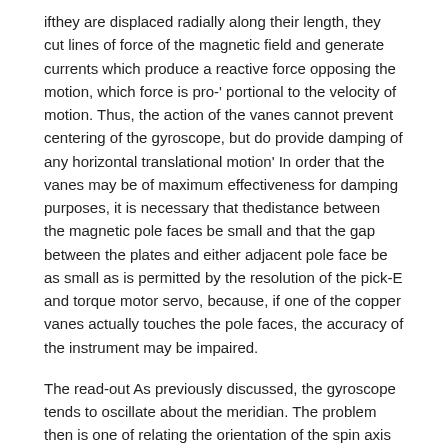ifthey are displaced radially along their length, they cut lines of force of the magnetic field and generate currents which produce a reactive force opposing the motion, which force is pro-' portional to the velocity of motion. Thus, the action of the vanes cannot prevent centering of the gyroscope, but do provide damping of any horizontal translational motion' In order that the vanes may be of maximum effectiveness for damping purposes, it is necessary that thedistance between the magnetic pole faces be small and that the gap between the plates and either adjacent pole face be as small as is permitted by the resolution of the pick-E and torque motor servo, because, if one of the copper vanes actually touches the pole faces, the accuracy of the instrument may be impaired.
The read-out As previously discussed, the gyroscope tends to oscillate about the meridian. The problem then is one of relating the orientation of the spin axis of the gyroscope with the surrounding terrain. FIGURES and 6 show a simplified read-apparatus, with the pointer 48 being directly connected through shaft 5 to the casing 2 which follows the movement of the gyroscope 11. If the observer continuously follows the pointer 48, it is possible for him to